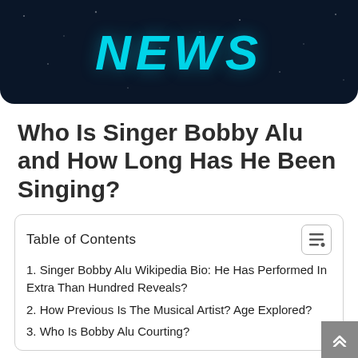NEWS
Who Is Singer Bobby Alu and How Long Has He Been Singing?
| Table of Contents |
| --- |
| 1. Singer Bobby Alu Wikipedia Bio: He Has Performed In Extra Than Hundred Reveals? |
| 2. How Previous Is The Musical Artist? Age Explored? |
| 3. Who Is Bobby Alu Courting? |